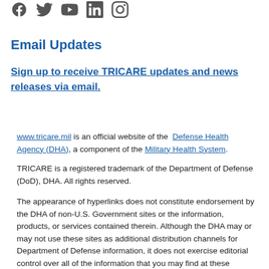[Figure (other): Social media icons: Facebook, Twitter, YouTube, LinkedIn, Instagram]
Email Updates
Sign up to receive TRICARE updates and news releases via email.
www.tricare.mil is an official website of the Defense Health Agency (DHA), a component of the Military Health System.
TRICARE is a registered trademark of the Department of Defense (DoD), DHA. All rights reserved.
The appearance of hyperlinks does not constitute endorsement by the DHA of non-U.S. Government sites or the information, products, or services contained therein. Although the DHA may or may not use these sites as additional distribution channels for Department of Defense information, it does not exercise editorial control over all of the information that you may find at these locations. Such...